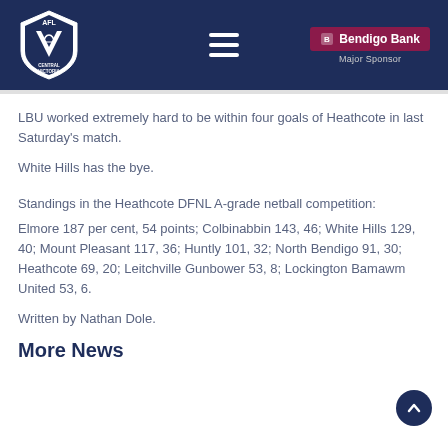AFL Central Victoria — Bendigo Bank Major Sponsor
LBU worked extremely hard to be within four goals of Heathcote in last Saturday's match.
White Hills has the bye.
Standings in the Heathcote DFNL A-grade netball competition:
Elmore 187 per cent, 54 points; Colbinabbin 143, 46; White Hills 129, 40; Mount Pleasant 117, 36; Huntly 101, 32; North Bendigo 91, 30; Heathcote 69, 20; Leitchville Gunbower 53, 8; Lockington Bamawm United 53, 6.
Written by Nathan Dole.
More News